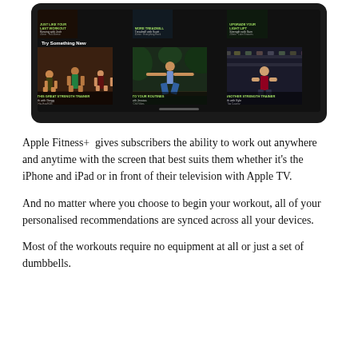[Figure (screenshot): iPad tablet showing Apple Fitness+ workout app interface with a grid of workout thumbnails in two rows. Top row shows three small workout cards. A 'Try Something New' section header appears, followed by a bottom row of three larger workout thumbnail cards showing people exercising (strength training, yoga/pilates, and other workouts).]
Apple Fitness+  gives subscribers the ability to work out anywhere and anytime with the screen that best suits them whether it's the iPhone and iPad or in front of their television with Apple TV.
And no matter where you choose to begin your workout, all of your personalised recommendations are synced across all your devices.
Most of the workouts require no equipment at all or just a set of dumbbells.